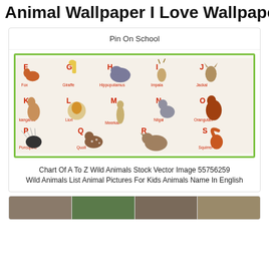Animal Wallpaper I Love Wallpaper
Pin On School
[Figure (illustration): A to Z wild animals chart showing animals F through S with illustrations: Fox, Giraffe, Hippopotamus, Impala, Jackal, Kangaroo, Lion, Meerkat, Nilgai, Orangutan, Porcupine, Quoll, Rhinoceros (R), Squirrel]
Chart Of A To Z Wild Animals Stock Vector Image 55756259 Wild Animals List Animal Pictures For Kids Animals Name In English
[Figure (photo): Bottom strip showing three partial thumbnail images of animals/nature scenes]